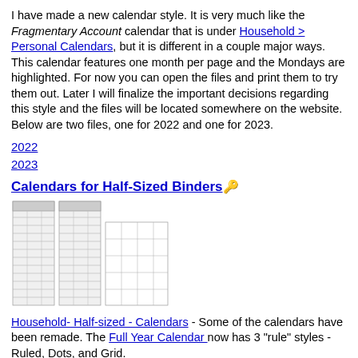I have made a new calendar style. It is very much like the Fragmentary Account calendar that is under Household > Personal Calendars, but it is different in a couple major ways. This calendar features one month per page and the Mondays are highlighted. For now you can open the files and print them to try them out. Later I will finalize the important decisions regarding this style and the files will be located somewhere on the website. Below are two files, one for 2022 and one for 2023.
2022
2023
Calendars for Half-Sized Binders 🔑
[Figure (illustration): Two narrow vertical calendar columns on left, one wider grid calendar page on right — calendar preview images]
Household- Half-sized - Calendars - Some of the calendars have been remade. The Full Year Calendar now has 3 "rule" styles - Ruled, Dots, and Grid.